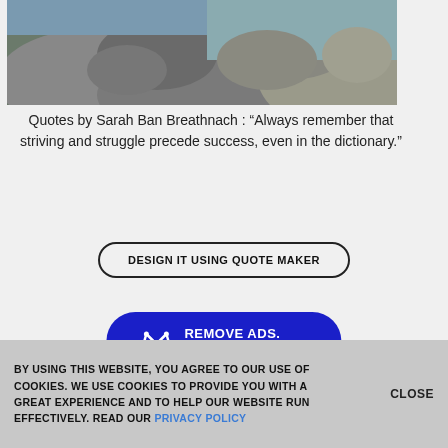[Figure (photo): Photo of rocky cliff/boulders with sky visible in background, cropped at top]
Quotes by Sarah Ban Breathnach : “Always remember that striving and struggle precede success, even in the dictionary.”
DESIGN IT USING QUOTE MAKER
REMOVE ADS. UPGRADE TO PRO
BY USING THIS WEBSITE, YOU AGREE TO OUR USE OF COOKIES. WE USE COOKIES TO PROVIDE YOU WITH A GREAT EXPERIENCE AND TO HELP OUR WEBSITE RUN EFFECTIVELY. READ OUR PRIVACY POLICY
CLOSE